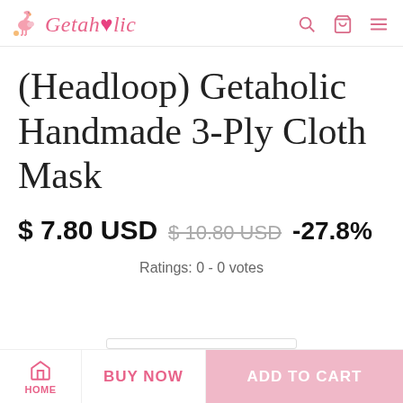Getaholic
(Headloop) Getaholic Handmade 3-Ply Cloth Mask
$ 7.80 USD  $ 10.80 USD  -27.8%
Ratings: 0 - 0 votes
HOME  BUY NOW  ADD TO CART